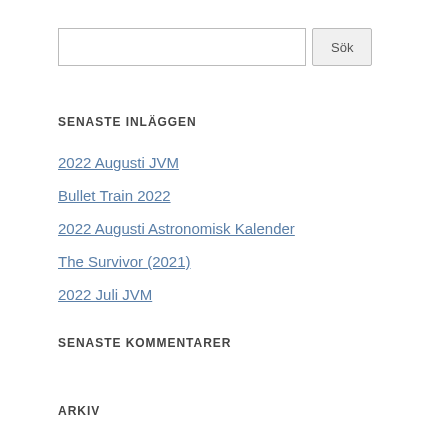[Figure (other): Search input box with Sök button]
SENASTE INLÄGGEN
2022 Augusti JVM
Bullet Train 2022
2022 Augusti Astronomisk Kalender
The Survivor (2021)
2022 Juli JVM
SENASTE KOMMENTARER
ARKIV